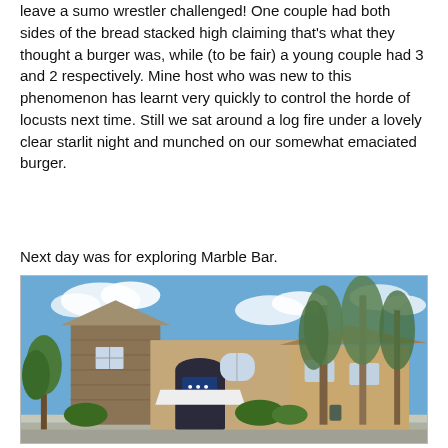leave a sumo wrestler challenged! One couple had both sides of the bread stacked high claiming that's what they thought a burger was, while (to be fair) a young couple had 3 and 2 respectively. Mine host who was new to this phenomenon has learnt very quickly to control the horde of locusts next time. Still we sat around a log fire under a lovely clear starlit night and munched on our somewhat emaciated burger.
Next day was for exploring Marble Bar.
[Figure (photo): Photograph of a stone building with a blue and white police sign, white awning over entrance, surrounded by eucalyptus trees and landscaped garden under a blue sky with scattered clouds.]